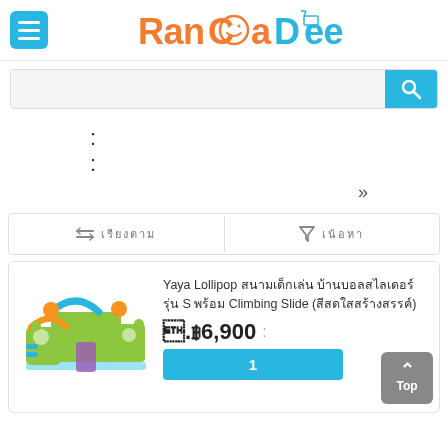[Figure (logo): RanCaDee logo with smiley face and shopping cart icon]
[Figure (screenshot): Search bar with cyan search button]
:
»
[Figure (screenshot): Sort and filter bar with Thai text]
[Figure (photo): Yaya Lollipop children's climbing slide playground set in green, blue, orange colors]
Yaya Lollipop สนามเด็กเล่น บ้านบอลสไลเดอร์ รุ่น S พร้อม Climbing Slide (สีสดใสสร้างสรรค์)
฿6,900
1